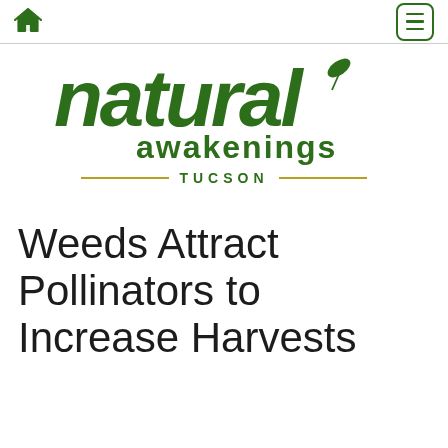Natural Awakenings Tucson — navigation bar with home icon and menu button
[Figure (logo): Natural Awakenings Tucson logo — 'natural' in large bold green italic font with a leaf accent, 'awakenings' below in bold green, 'TUCSON' centered beneath with decorative gold horizontal lines on each side]
Weeds Attract Pollinators to Increase Harvests